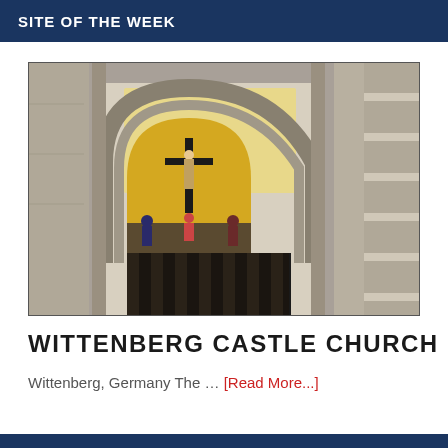SITE OF THE WEEK
[Figure (photo): Photograph of the entrance portal of Wittenberg Castle Church, showing a Gothic arched doorway with a mosaic depicting the Crucifixion above large dark wooden doors, flanked by stone walls.]
WITTENBERG CASTLE CHURCH
Wittenberg, Germany The … [Read More...]